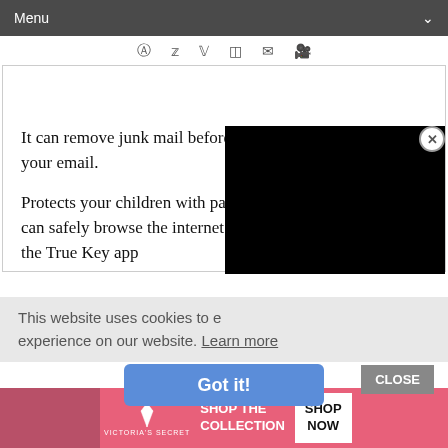Menu
[Figure (other): Social media icons bar: Pinterest, Twitter, Facebook, Instagram, Email, YouTube]
It can remove junk mail before it reaches your inbox from your email.
Protects your children with par[ental controls so they] can safely browse the internet. A[lso part of] the True Key app
[Figure (screenshot): Black video advertisement overlay with close (X) button]
This website uses cookies to e[nsure you get the best] experience on our website. Learn more
[Figure (other): Got it! button (blue) and CLOSE button (grey)]
[Figure (other): Victoria's Secret advertisement banner: SHOP THE COLLECTION / SHOP NOW]